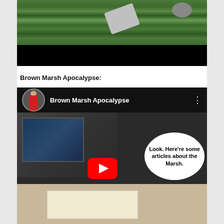[Figure (photo): Photo of plants/vegetation with garden tools, top portion showing green plants and a dark soil area, bottom portion is a black bar.]
Brown Marsh Apocalypse:
[Figure (screenshot): YouTube video thumbnail for 'Brown Marsh Apocalypse' showing a channel avatar with a person in red shirt, the video title in white text on black bar, three-dot menu icon, and a video frame showing a cluttered desk/office scene with a speech bubble reading 'Look. Here're some articles about the Marsh.' with a red YouTube play button overlay.]